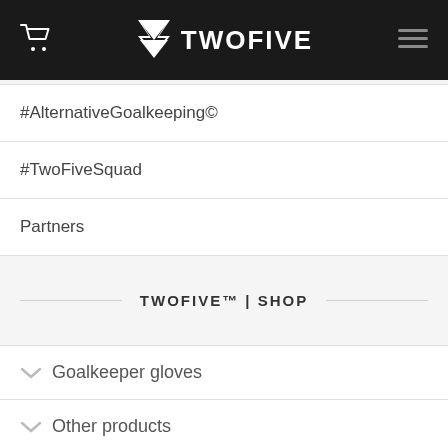[Figure (logo): TwoFive brand header with shopping cart icon on left, TwoFive logo (chevron mark + TWOFIVE text) in center, hamburger menu on right, all on dark background]
#AlternativeGoalkeeping©
#TwoFiveSquad
Partners
TWOFIVE™ | SHOP
Goalkeeper gloves
Other products
Promotions OFERTA
Outlet